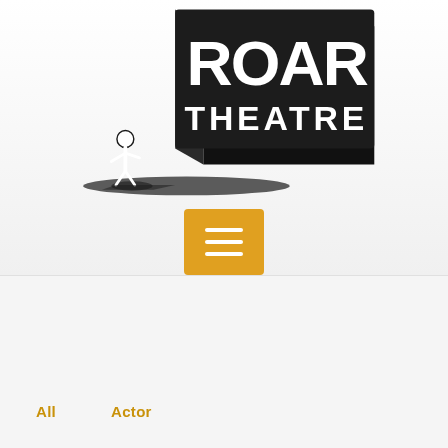[Figure (logo): Roar Theatre logo: bold block letters 'ROAR' stacked above 'THEATRE' in 3D perspective with a small person figure casting a shadow to the left]
[Figure (other): Orange/amber square hamburger menu button with three white horizontal lines]
All
Actor